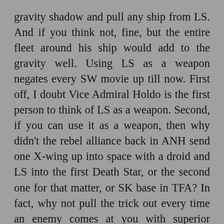gravity shadow and pull any ship from LS. And if you think not, fine, but the entire fleet around his ship would add to the gravity well. Using LS as a weapon negates every SW movie up till now. First off, I doubt Vice Admiral Holdo is the first person to think of LS as a weapon. Second, if you can use it as a weapon, then why didn't the rebel alliance back in ANH send one X-wing up into space with a droid and LS into the first Death Star, or the second one for that matter, or SK base in TFA? In fact, why not pull the trick out every time an enemy comes at you with superior numbers? You can defeat an entire enemy force with one ship and one droid, so cost is low. Why didn't they do the maneuver at the beginning of TLJ with the massive dreadnaught instead of sending all those bombers in to blow up and die with all those pilots? Granted, a stunning visual effect, but in the grand